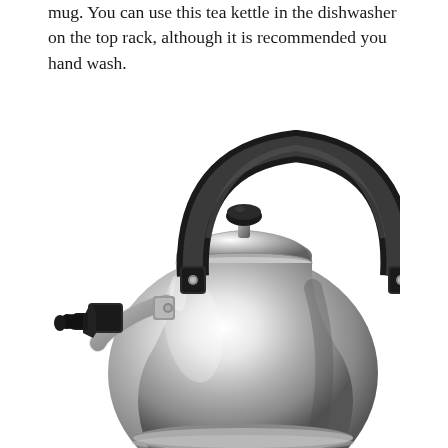mug. You can use this tea kettle in the dishwasher on the top rack, although it is recommended you hand wash.
[Figure (photo): A stainless steel whistling tea kettle with a black ergonomic handle arching over the top, a black lid knob, and a spout with a black whistle/cap mechanism on the left side. The body is highly polished and reflective.]